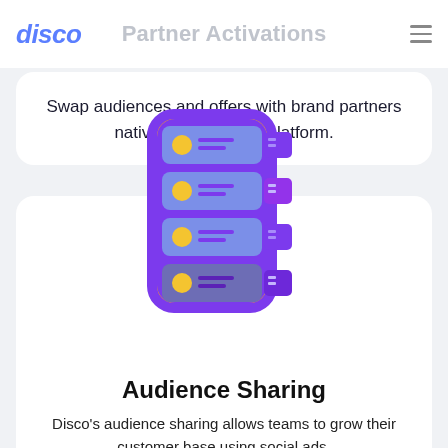disco | Partner Activations
Swap audiences and offers with brand partners natively in the disco platform.
[Figure (illustration): 3D illustration of a server rack with purple/orange gradient casing containing four blue server units each with a yellow circle button and purple horizontal lines, with purple tab connectors on the right side.]
Audience Sharing
Disco's audience sharing allows teams to grow their customer base using social ads.